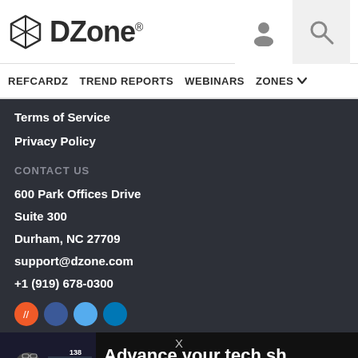DZone.
REFCARDZ  TREND REPORTS  WEBINARS  ZONES
Terms of Service
Privacy Policy
CONTACT US
600 Park Offices Drive
Suite 300
Durham, NC 27709
support@dzone.com
+1 (919) 678-0300
[Figure (screenshot): Pluralsight advertisement banner with a man wearing glasses, chart overlay with number 138, and text 'Advance your tech sh...' with Pluralsight logo]
DZ...
AnswerHub logo